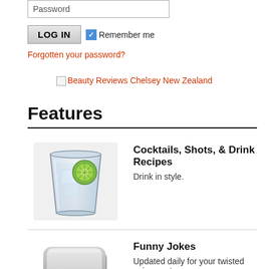[Figure (screenshot): Password input field with placeholder text 'Password']
[Figure (screenshot): LOG IN button and Remember me checkbox (checked, blue)]
Forgotten your password?
[Figure (other): Beauty Reviews Chelsey New Zealand banner link with small icon]
Features
[Figure (photo): Glass with ice, water and lime slice - cocktail drink image]
Cocktails, Shots, & Drink Recipes
Drink in style.
[Figure (photo): Keyboard key labeled ROFL - funny jokes image]
Funny Jokes
Updated daily for your twisted enjoyment...
Daily Video